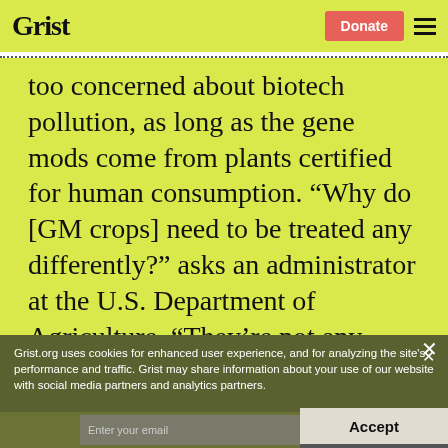Grist | Donate
too concerned about biotech pollution, as long as the gene mods come from plants certified for human consumption. “Why do [GM crops] need to be treated any differently?” asks an administrator at the U.S. Department of Agriculture. “They’re not any more unsafe.”
Grist.org uses cookies for enhanced user experience, and for analyzing the site’s performance and traffic. Grist may share information about your use of our website with social media partners and analytics partners.
Sign up to get drought updates from Grist.
Accept
Enter your email
PRIVACY POLICY